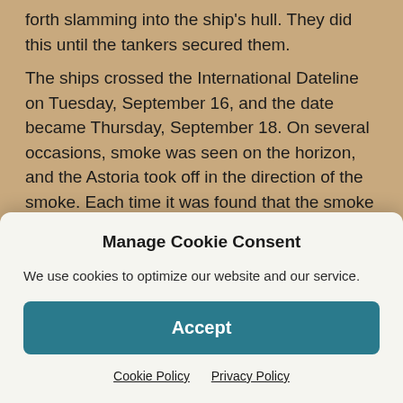forth slamming into the ship's hull. They did this until the tankers secured them.
The ships crossed the International Dateline on Tuesday, September 16, and the date became Thursday, September 18. On several occasions, smoke was seen on the horizon, and the Astoria took off in the direction of the smoke. Each time it was found that the smoke was from a ship belonging to a friendly country. At one point, the ships in total blackout passed islands during the night. The ships entered Manila Bay at about 7:00 in the morning of Friday, October 26. The soldiers arrived and loaded
Manage Cookie Consent
We use cookies to optimize our website and our service.
Accept
Cookie Policy   Privacy Policy